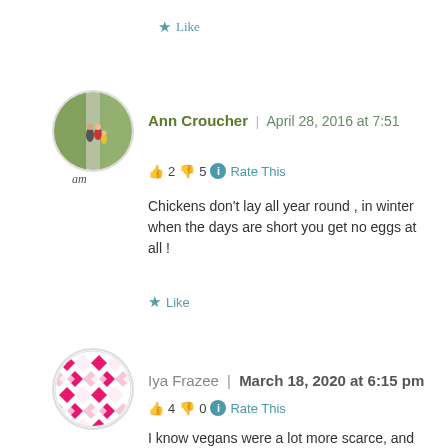Like
[Figure (photo): Circular avatar photo of two people walking on a path, labeled 'am']
am
Ann Croucher | April 28, 2016 at 7:51
👍 2 👎 5 ℹ Rate This
Chickens don't lay all year round , in winter when the days are short you get no eggs at all !
Like
[Figure (illustration): Circular avatar with pink and white geometric pattern]
Iya Frazee | March 18, 2020 at 6:15 pm
👍 4 👎 0 ℹ Rate This
I know vegans were a lot more scarce, and